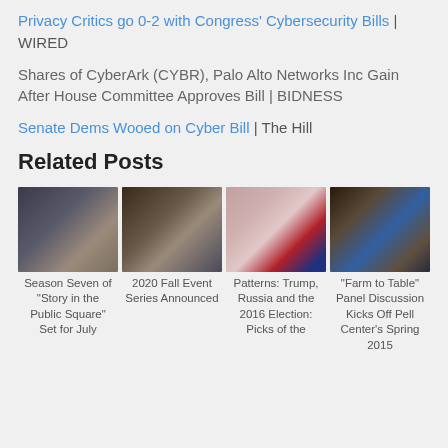Privacy Critics go 0-2 with Congress' Cybersecurity Bills | WIRED
Shares of CyberArk (CYBR), Palo Alto Networks Inc Gain After House Committee Approves Bill | BIDNESS
Senate Dems Wooed on Cyber Bill | The Hill
Related Posts
[Figure (photo): Panel discussion with people seated at a table]
[Figure (photo): Large audience in a lecture hall]
[Figure (photo): Hands with American flag pattern, thumbs up and down]
[Figure (photo): Speaker at podium with projection screen]
Season Seven of "Story in the Public Square" Set for July
2020 Fall Event Series Announced
Patterns: Trump, Russia and the 2016 Election: Picks of the
"Farm to Table" Panel Discussion Kicks Off Pell Center's Spring 2015